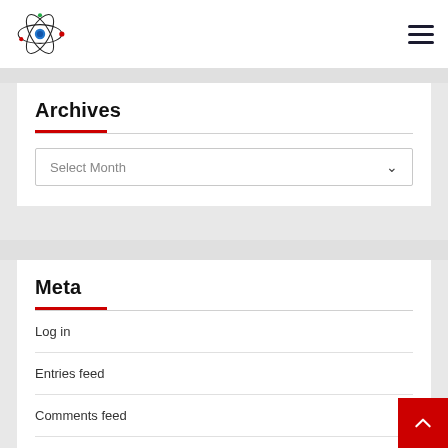Navigation header with atom logo and hamburger menu
Archives
Select Month
Meta
Log in
Entries feed
Comments feed